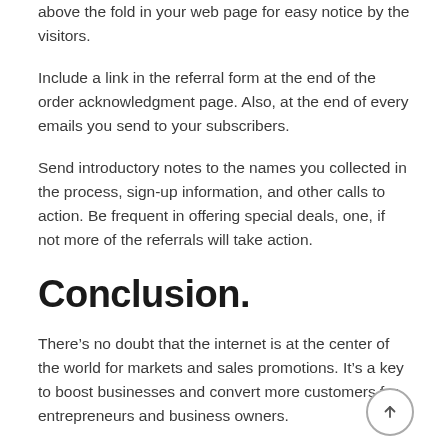above the fold in your web page for easy notice by the visitors.
Include a link in the referral form at the end of the order acknowledgment page. Also, at the end of every emails you send to your subscribers.
Send introductory notes to the names you collected in the process, sign-up information, and other calls to action. Be frequent in offering special deals, one, if not more of the referrals will take action.
Conclusion.
There’s no doubt that the internet is at the center of the world for markets and sales promotions. It’s a key to boost businesses and convert more customers for entrepreneurs and business owners.
However, this opportunity isn’t limited to Google